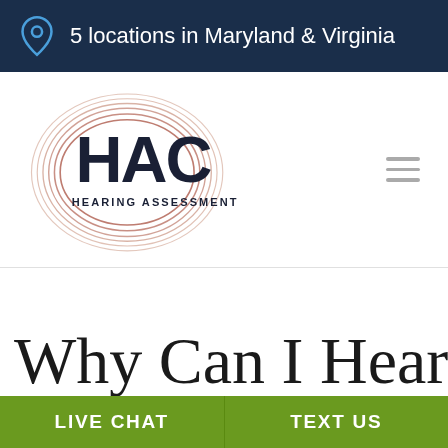5 locations in Maryland & Virginia
[Figure (logo): HAC Hearing Assessment Center circular logo with rose gold concentric circles and bold dark text]
Why Can I Hear Soft Sounds But
LIVE CHAT
TEXT US